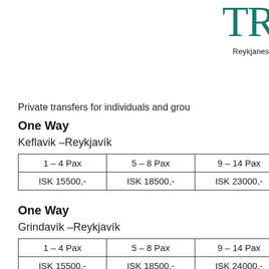[Figure (logo): Partial company logo showing letters 'TR' in teal/dark green serif font]
Reykjanes
Private transfers for individuals and grou
One Way
Keflavik –Reykjavík
| 1 – 4 Pax | 5 – 8 Pax | 9 – 14 Pax |
| --- | --- | --- |
| ISK 15500,- | ISK 18500,- | ISK 23000,- |
One Way
Grindavík –Reykjavík
| 1 – 4 Pax | 5 – 8 Pax | 9 – 14 Pax |
| --- | --- | --- |
| ISK 15500,- | ISK 18500,- | ISK 24000,- |